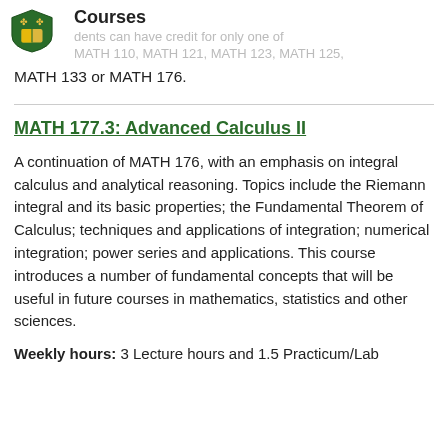Courses
MATH 133 or MATH 176.
MATH 177.3: Advanced Calculus II
A continuation of MATH 176, with an emphasis on integral calculus and analytical reasoning. Topics include the Riemann integral and its basic properties; the Fundamental Theorem of Calculus; techniques and applications of integration; numerical integration; power series and applications. This course introduces a number of fundamental concepts that will be useful in future courses in mathematics, statistics and other sciences.
Weekly hours: 3 Lecture hours and 1.5 Practicum/Lab